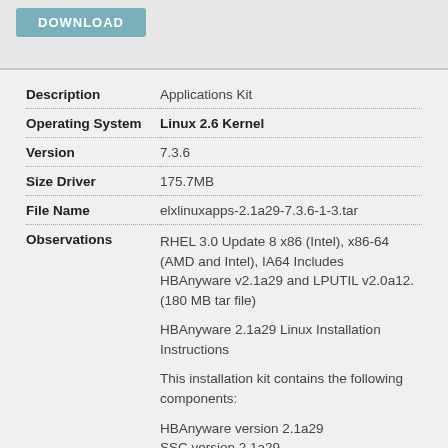[Figure (other): Download button with teal/blue background and white uppercase text reading DOWNLOAD]
| Field | Value |
| --- | --- |
| Description | Applications Kit |
| Operating System | Linux 2.6 Kernel |
| Version | 7.3.6 |
| Size Driver | 175.7MB |
| File Name | elxlinuxapps-2.1a29-7.3.6-1-3.tar |
| Observations | RHEL 3.0 Update 8 x86 (Intel), x86-64 (AMD and Intel), IA64 Includes HBAnyware v2.1a29 and LPUTIL v2.0a12. (180 MB tar file)

HBAnyware 2.1a29 Linux Installation Instructions

This installation kit contains the following components:

HBAnyware version 2.1a29
SSC version 2.1a29
DFC Library version 1.2.1.1 |